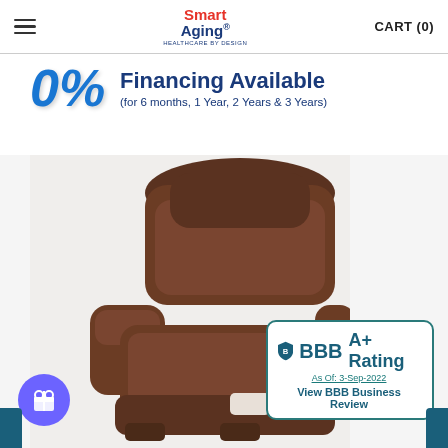Smart Aging® HEALTHCARE BY DESIGN | CART (0)
[Figure (infographic): 0% financing available banner with blue 3D percent sign and text: Financing Available (for 6 months, 1 Year, 2 Years & 3 Years)]
[Figure (photo): Brown fabric lift recliner chair, heavily padded with wide armrests, shown in reclined position against white/light grey background]
[Figure (logo): BBB A+ Rating badge. As Of: 3-Sep-2022. View BBB Business Review.]